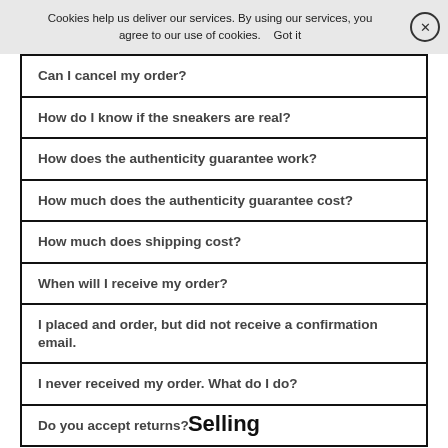Cookies help us deliver our services. By using our services, you agree to our use of cookies. Got it
Can I cancel my order?
How do I know if the sneakers are real?
How does the authenticity guarantee work?
How much does the authenticity guarantee cost?
How much does shipping cost?
When will I receive my order?
I placed and order, but did not receive a confirmation email.
I never received my order. What do I do?
Do you accept returns?
Selling